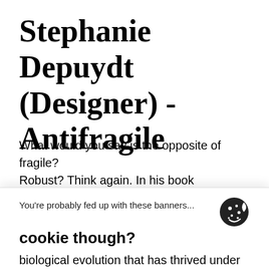Stephanie Depuydt (Designer) - Antifragile
What would you say is the opposite of fragile? Robust? Think again. In his book Antifragile
You're probably fed up with these banners...
cookie though?
Everybody wants to show his best side - and so do we. That's why we use cookies to guarantee you a better experience.
Customize ∨
Decline    Accept all
biological evolution that has thrived under